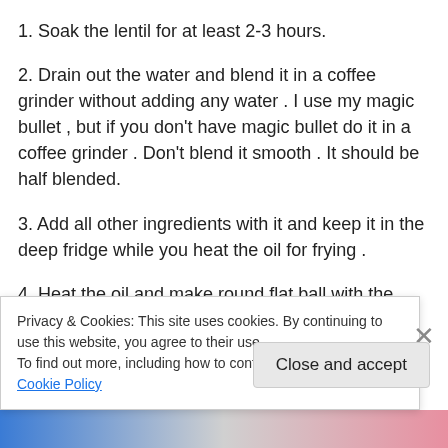1. Soak the lentil for at least 2-3 hours.
2. Drain out the water and blend it in a coffee grinder without adding any water . I use my magic bullet , but if you don't have magic bullet do it in a coffee grinder . Don't blend it smooth . It should be half blended.
3. Add all other ingredients with it and keep it in the deep fridge while you heat the oil for frying .
4. Heat the oil and make round flat ball with the lentil mixture , put them in the hot oil and deep fry on medium
Privacy & Cookies: This site uses cookies. By continuing to use this website, you agree to their use.
To find out more, including how to control cookies, see here: Cookie Policy
Close and accept